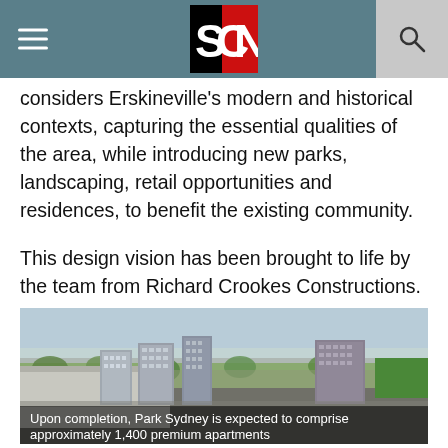SCN
considers Erskineville's modern and historical contexts, capturing the essential qualities of the area, while introducing new parks, landscaping, retail opportunities and residences, to benefit the existing community.

This design vision has been brought to life by the team from Richard Crookes Constructions.
[Figure (photo): Aerial view of Park Sydney development showing residential apartment buildings amid suburban surroundings]
Upon completion, Park Sydney is expected to comprise approximately 1,400 premium apartments